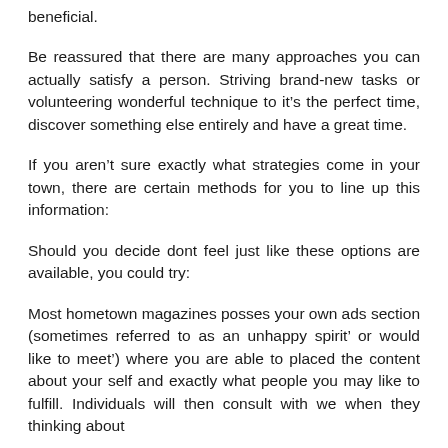beneficial.
Be reassured that there are many approaches you can actually satisfy a person. Striving brand-new tasks or volunteering wonderful technique to it’s the perfect time, discover something else entirely and have a great time.
If you aren’t sure exactly what strategies come in your town, there are certain methods for you to line up this information:
Should you decide dont feel just like these options are available, you could try:
Most hometown magazines posses your own ads section (sometimes referred to as an unhappy spirit’ or would like to meet’) where you are able to placed the content about your self and exactly what people you may like to fulfill. Individuals will then consult with we when they thinking about